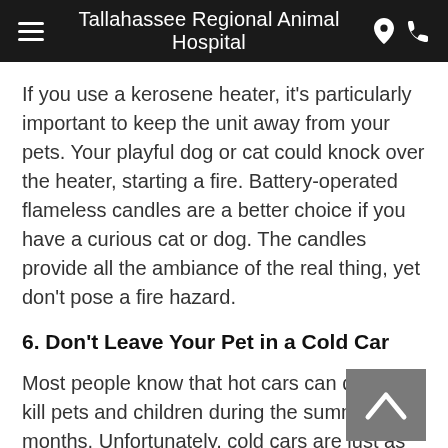Tallahassee Regional Animal Hospital
If you use a kerosene heater, it's particularly important to keep the unit away from your pets. Your playful dog or cat could knock over the heater, starting a fire. Battery-operated flameless candles are a better choice if you have a curious cat or dog. The candles provide all the ambiance of the real thing, yet don't pose a fire hazard.
6. Don't Leave Your Pet in a Cold Car
Most people know that hot cars can quickly kill pets and children during the summer months. Unfortunately, cold cars are just as dangerous. The ASPCA notes that cars tend to hold in the cold, acting